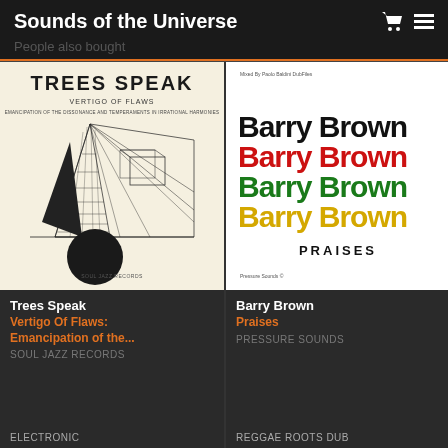Sounds of the Universe
People also bought
[Figure (illustration): Album cover for Trees Speak - Vertigo Of Flaws: Emancipation of the Dissonance and Temperaments in Irrational Harmonies. Abstract geometric architectural drawing with triangular structures and a black circle, on cream/beige background. Text at top reads TREES SPEAK VERTIGO OF FLAWS. Bottom text: SOUL JAZZ RECORDS]
Trees Speak
Vertigo Of Flaws: Emancipation of the...
SOUL JAZZ RECORDS
ELECTRONIC
[Figure (illustration): Album cover for Barry Brown - Praises. White background with bold decorative text BARRY BROWN repeated four times in stripes of black, red, green, and yellow/gold. Below: PRAISES in black caps. Small text at top: Mixed By Paolo Baldini DubFiles. Bottom: Pressure Sounds logo]
Barry Brown
Praises
PRESSURE SOUNDS
REGGAE ROOTS DUB